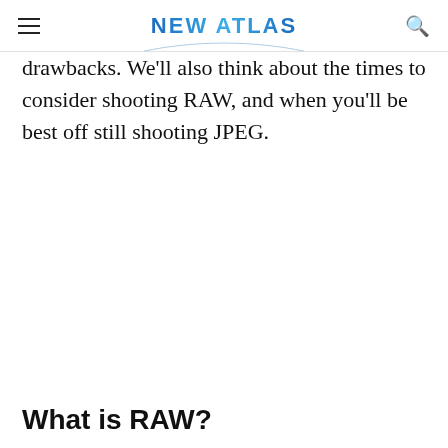NEW ATLAS
drawbacks. We'll also think about the times to consider shooting RAW, and when you'll be best off still shooting JPEG.
What is RAW?